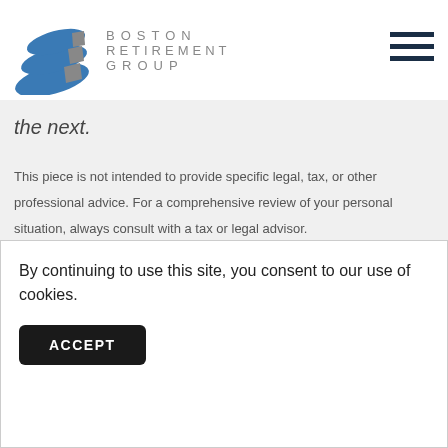[Figure (logo): Boston Retirement Group logo with blue wave graphic and gray text]
the next.
This piece is not intended to provide specific legal, tax, or other professional advice. For a comprehensive review of your personal situation, always consult with a tax or legal advisor.
SHARE POST
By continuing to use this site, you consent to our use of cookies.